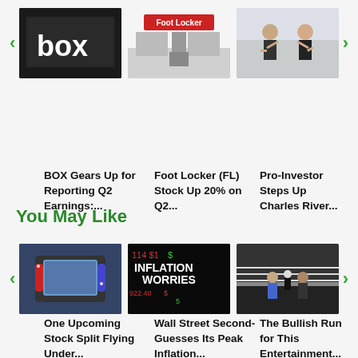[Figure (photo): BOX company storefront with white box logo on dark background]
BOX Gears Up for Reporting Q2 Earnings:...
[Figure (photo): Foot Locker retail store exterior]
Foot Locker (FL) Stock Up 20% on Q2...
[Figure (photo): Two people in business attire high-fiving]
Pro-Investor Steps Up Charles River...
You May Like
[Figure (photo): Person holding Nintendo Switch gaming console]
One Upcoming Stock Split Flying Under...
[Figure (photo): Inflation Worries text on stock market background]
Wall Street Second-Guesses Its Peak Inflation...
[Figure (photo): Boxing match in a ring with fighters]
The Bullish Run for This Entertainment...